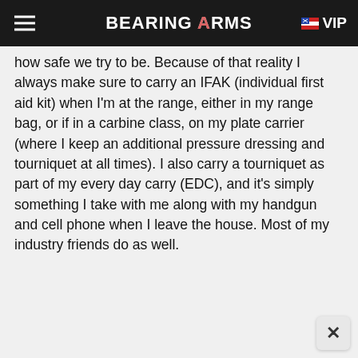BEARING ARMS VIP
how safe we try to be. Because of that reality I always make sure to carry an IFAK (individual first aid kit) when I'm at the range, either in my range bag, or if in a carbine class, on my plate carrier (where I keep an additional pressure dressing and tourniquet at all times). I also carry a tourniquet as part of my every day carry (EDC), and it's simply something I take with me along with my handgun and cell phone when I leave the house. Most of my industry friends do as well.